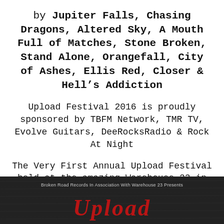by Jupiter Falls, Chasing Dragons, Altered Sky, A Mouth Full of Matches, Stone Broken, Stand Alone, Orangefall, City of Ashes, Ellis Red, Closer & Hell's Addiction
Upload Festival 2016 is proudly sponsored by TBFM Network, TMR TV, Evolve Guitars, DeeRocksRadio & Rock At Night
The Very First Annual Upload Festival held at the amazing Warehouse 23 in Wakefield, West Yorkshire.
[Figure (photo): Dark concert/festival promotional image with text 'Broken Road Records In Association With Warehouse 23 Presents' and stylized red logo text below on a dark textured background.]